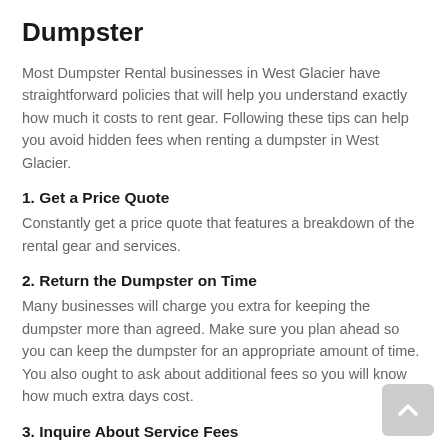Dumpster
Most Dumpster Rental businesses in West Glacier have straightforward policies that will help you understand exactly how much it costs to rent gear. Following these tips can help you avoid hidden fees when renting a dumpster in West Glacier.
1. Get a Price Quote
Constantly get a price quote that features a breakdown of the rental gear and services.
2. Return the Dumpster on Time
Many businesses will charge you extra for keeping the dumpster more than agreed. Make sure you plan ahead so you can keep the dumpster for an appropriate amount of time. You also ought to ask about additional fees so you will know how much extra days cost.
3. Inquire About Service Fees
Does the business charge extra for dropping off or picking up the